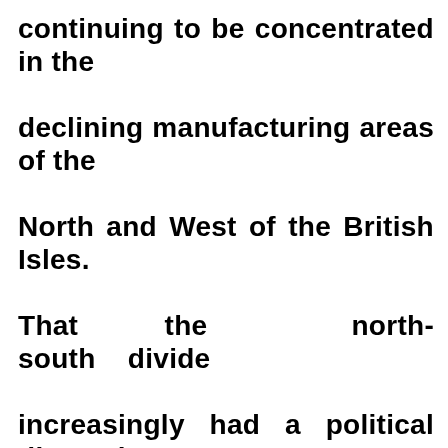continuing to be concentrated in the declining manufacturing areas of the North and West of the British Isles. That the north-south divide increasingly had a political dimension as well as an economic one was borne out by the 1987 General Election in the